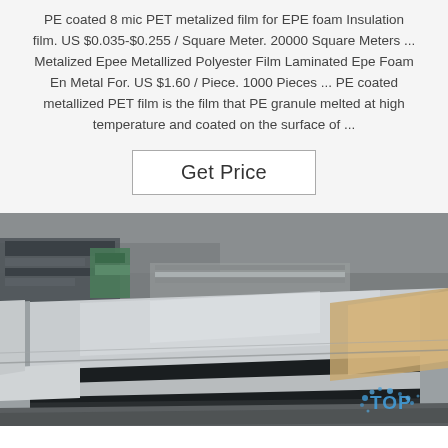PE coated 8 mic PET metalized film for EPE foam Insulation film. US $0.035-$0.255 / Square Meter. 20000 Square Meters ... Metalized Epee Metallized Polyester Film Laminated Epe Foam En Metal For. US $1.60 / Piece. 1000 Pieces ... PE coated metallized PET film is the film that PE granule melted at high temperature and coated on the surface of ...
[Figure (other): Industrial warehouse photo showing stacks of large metallic/aluminum sheets or panels with a shiny reflective surface, stored in a factory or warehouse setting with industrial equipment visible in the background. A blue 'TOP' watermark is visible in the lower right corner.]